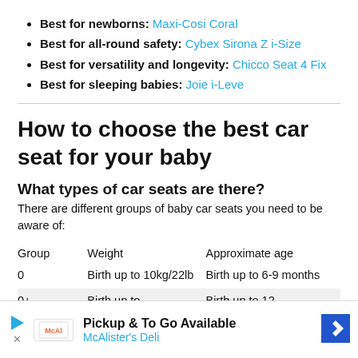Best for newborns: Maxi-Cosi Coral
Best for all-round safety: Cybex Sirona Z i-Size
Best for versatility and longevity: Chicco Seat 4 Fix
Best for sleeping babies: Joie i-Leve
How to choose the best car seat for your baby
What types of car seats are there?
There are different groups of baby car seats you need to be aware of:
| Group | Weight | Approximate age |
| --- | --- | --- |
| 0 | Birth up to 10kg/22lb | Birth up to 6-9 months |
| 0+ | Birth up to | Birth up to 12- |
[Figure (infographic): Advertisement banner: Pickup & To Go Available — McAlister's Deli with arrow logo]